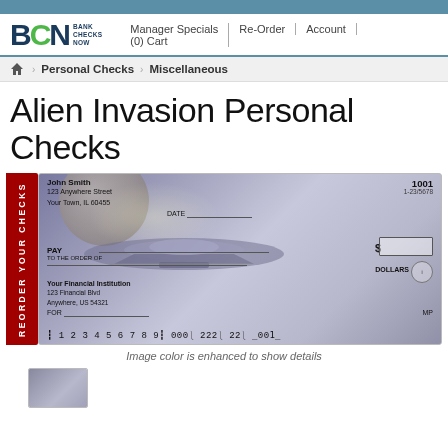BCN BANK CHECKS NOW | Manager Specials | (0) Cart | Re-Order | Account
Personal Checks  Miscellaneous
Alien Invasion Personal Checks
[Figure (illustration): Sample personal check with alien invasion / space theme showing a spaceship against a space background with planet. Check details: John Smith, 123 Anywhere Street, Your Town, IL 60455. Check number 1001, fraction 1-23/5678. Pay to the order of line, DOLLARS line, FOR line. Bank: Your Financial Institution, 123 Financial Blvd, Anywhere, US 54321. MICR line: C: 1 2 3 4 5 6 7 8 9 C: 000m 222m 22m   1001. Red side tab reads REORDER YOUR CHECKS.]
Image color is enhanced to show details